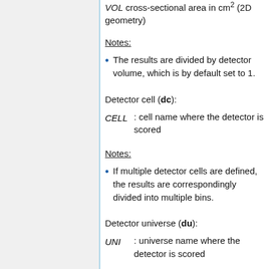VOL cross-sectional area in cm² (2D geometry)
Notes:
The results are divided by detector volume, which is by default set to 1.
Detector cell (dc):
CELL : cell name where the detector is scored
Notes:
If multiple detector cells are defined, the results are correspondingly divided into multiple bins.
Detector universe (du):
UNI : universe name where the detector is scored